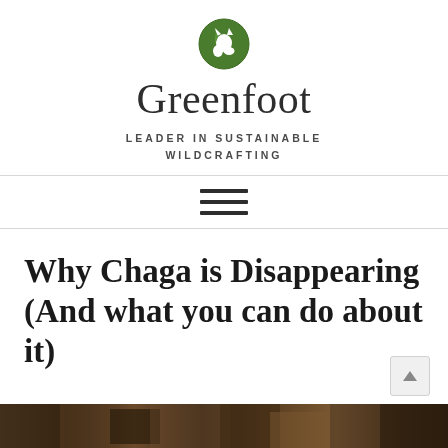[Figure (logo): Greenfoot logo: green circular icon with a horse head silhouette]
Greenfoot
LEADER IN SUSTAINABLE WILDCRAFTING
[Figure (other): Hamburger menu icon with three horizontal lines]
Why Chaga is Disappearing (And what you can do about it)
[Figure (photo): Partial photo strip at the bottom of the page showing natural/outdoor scene]